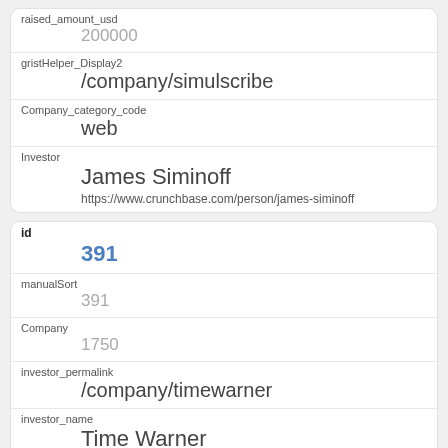| raised_amount_usd | 200000 |
| gristHelper_Display2 | /company/simulscribe |
| Company_category_code | web |
| Investor | James Siminoff
https://www.crunchbase.com/person/james-siminoff |
| id | 391 |
| manualSort | 391 |
| Company | 1750 |
| investor_permalink | /company/timewarner |
| investor_name | Time Warner |